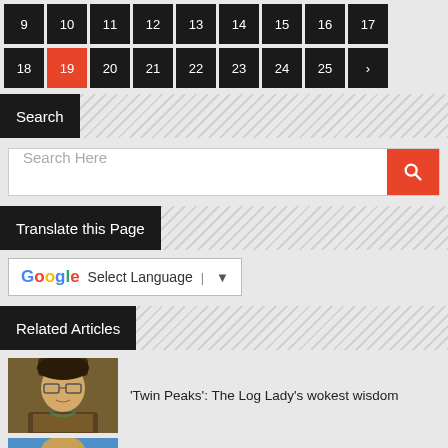Pagination: 9 10 11 12 13 14 15 16 17 (row 1), 18 [19 active] 20 21 22 23 24 25 > (row 2)
Search
Search Here
Translate this Page
G Select Language ▼
Related Articles
'Twin Peaks': The Log Lady's wokest wisdom
Gerwig's 'Lady Bird' in flight come September